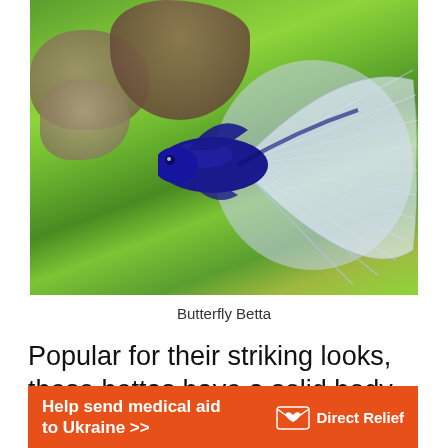[Figure (photo): A blue and white Butterfly Betta fish swimming in a lush green planted aquarium tank with driftwood and rocks in the background.]
Butterfly Betta
Popular for their striking looks, these bettas have a solid body and fins with two (sometimes three)
[Figure (infographic): Orange advertisement banner reading 'Help send medical aid to Ukraine >>' with Direct Relief logo on the right.]